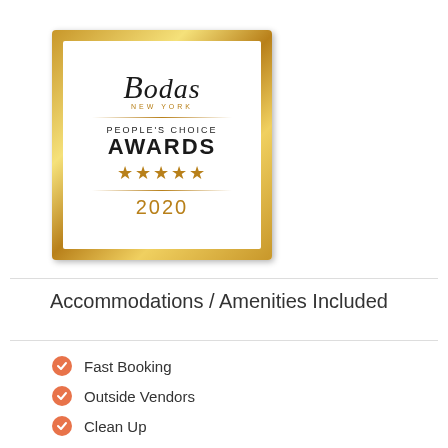[Figure (logo): Bodas New York People's Choice Awards 2020 badge with gold border, five gold stars, and white interior]
Accommodations / Amenities Included
Fast Booking
Outside Vendors
Clean Up